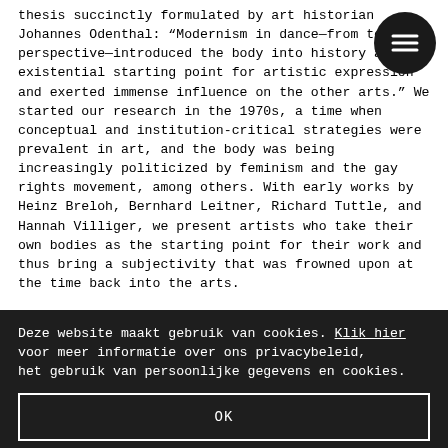thesis succinctly formulated by art historian Johannes Odenthal: “Modernism in dance—from today’s perspective—introduced the body into history as an existential starting point for artistic expression and exerted immense influence on the other arts.” We started our research in the 1970s, a time when conceptual and institution-critical strategies were prevalent in art, and the body was being increasingly politicized by feminism and the gay rights movement, among others. With early works by Heinz Breloh, Bernhard Leitner, Richard Tuttle, and Hannah Villiger, we present artists who take their own bodies as the starting point for their work and thus bring a subjectivity that was frowned upon at the time back into the arts.
Deze website maakt gebruik van cookies. Klik hier voor meer informatie over ons privacybeleid, het gebruik van persoonlijke gegevens en cookies.
OK